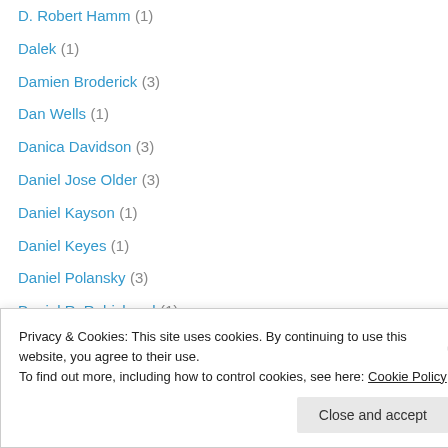D. Robert Hamm (1)
Dalek (1)
Damien Broderick (3)
Dan Wells (1)
Danica Davidson (3)
Daniel Jose Older (3)
Daniel Kayson (1)
Daniel Keyes (1)
Daniel Polansky (3)
Daniel R. Robichaud (1)
Darick Robertson (1)
dark fantasy (1)
Dave Hutchinson (1)
Dave McKean (1)
Privacy & Cookies: This site uses cookies. By continuing to use this website, you agree to their use. To find out more, including how to control cookies, see here: Cookie Policy